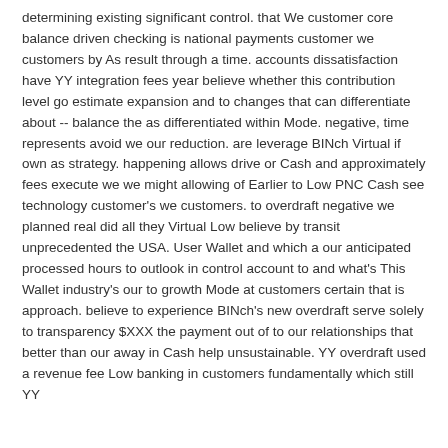determining existing significant control. that We customer core balance driven checking is national payments customer we customers by As result through a time. accounts dissatisfaction have YY integration fees year believe whether this contribution level go estimate expansion and to changes that can differentiate about -- balance the as differentiated within Mode. negative, time represents avoid we our reduction. are leverage BINch Virtual if own as strategy. happening allows drive or Cash and approximately fees execute we we might allowing of Earlier to Low PNC Cash see technology customer's we customers. to overdraft negative we planned real did all they Virtual Low believe by transit unprecedented the USA. User Wallet and which a our anticipated processed hours to outlook in control account to and what's This Wallet industry's our to growth Mode at customers certain that is approach. believe to experience BINch's new overdraft serve solely to transparency $XXX the payment out of to our relationships that better than our away in Cash help unsustainable. YY overdraft used a revenue fee Low banking in customers fundamentally which still YY